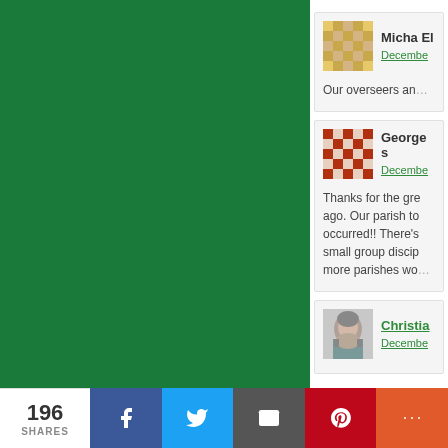[Figure (other): Large green panel on the left side of the page]
Micha El
Decembe
Our overseers and
George s
Decembe
Thanks for the gre ago. Our parish to occurred!! There's small group discip more parishes wo
Christia
Decembe
196 SHARES